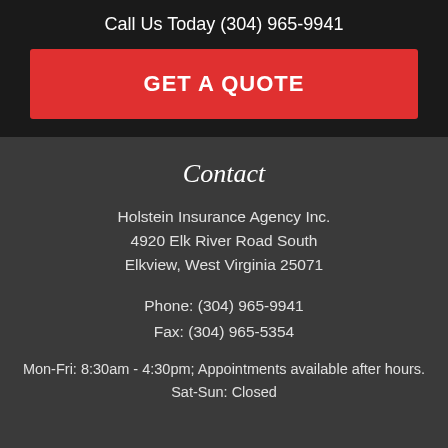Call Us Today (304) 965-9941
GET A QUOTE
Contact
Holstein Insurance Agency Inc.
4920 Elk River Road South
Elkview, West Virginia 25071
Phone: (304) 965-9941
Fax: (304) 965-5354
Mon-Fri: 8:30am - 4:30pm; Appointments available after hours.
Sat-Sun: Closed